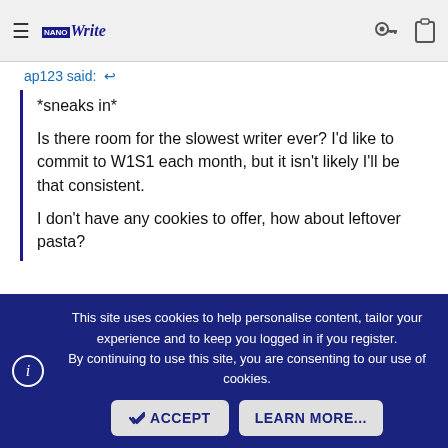NaNoWriMo Write — navigation bar with hamburger menu, logo, key icon, clipboard icon
ap123 said: ↺
*sneaks in*

Is there room for the slowest writer ever? I'd like to commit to W1S1 each month, but it isn't likely I'll be that consistent.

I don't have any cookies to offer, how about leftover pasta?
woot woot! Welcome, welcome, welcome! *pulls up all the chairs*

And leftover pasta? Yum!
ap123
This site uses cookies to help personalise content, tailor your experience and to keep you logged in if you register.
By continuing to use this site, you are consenting to our use of cookies.
ACCEPT    LEARN MORE...